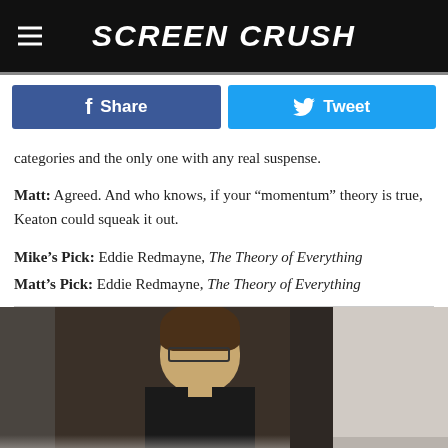Screen Crush
categories and the only one with any real suspense.
Matt: Agreed. And who knows, if your “momentum” theory is true, Keaton could squeak it out.
Mike’s Pick: Eddie Redmayne, The Theory of Everything
Matt’s Pick: Eddie Redmayne, The Theory of Everything
[Figure (photo): Photo of a man with curly hair and glasses, looking down, wearing a dark jacket, against a dark background with a lighter panel on the right]